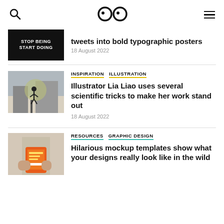Search | Logo | Menu
tweets into bold typographic posters
18 August 2022
INSPIRATION   ILLUSTRATION
Illustrator Lia Liao uses several scientific tricks to make her work stand out
18 August 2022
RESOURCES   GRAPHIC DESIGN
Hilarious mockup templates show what your designs really look like in the wild